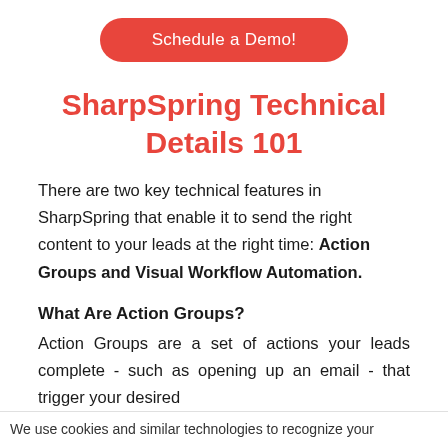[Figure (other): Red rounded rectangle button with white text 'Schedule a Demo!']
SharpSpring Technical Details 101
There are two key technical features in SharpSpring that enable it to send the right content to your leads at the right time: Action Groups and Visual Workflow Automation.
What Are Action Groups?
Action Groups are a set of actions your leads complete - such as opening up an email - that trigger your desired response - such as watching a YouTube
We use cookies and similar technologies to recognize your